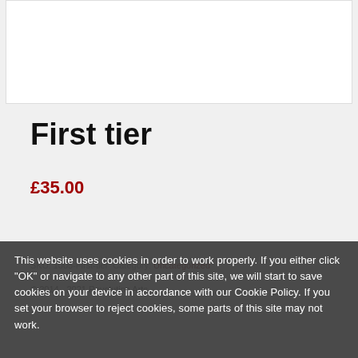[Figure (other): White product image placeholder box with border]
First tier
£35.00
[Figure (other): Quantity selector with minus, 1, plus buttons and Add to basket red button]
SKU: 1005-First-tier Category: Uncategorized
© 2014 - 2021 Revolution Arts
This website uses cookies in order to work properly. If you either click "OK" or navigate to any other part of this site, we will start to save cookies on your device in accordance with our Cookie Policy. If you set your browser to reject cookies, some parts of this site may not work.